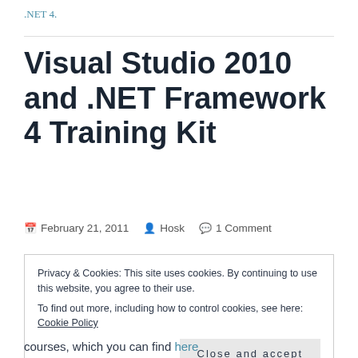.NET 4.
Visual Studio 2010 and .NET Framework 4 Training Kit
February 21, 2011   Hosk   1 Comment
Privacy & Cookies: This site uses cookies. By continuing to use this website, you agree to their use.
To find out more, including how to control cookies, see here: Cookie Policy
Close and accept
courses, which you can find here